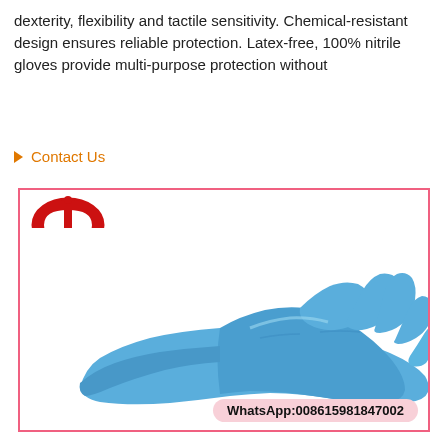dexterity, flexibility and tactile sensitivity. Chemical-resistant design ensures reliable protection. Latex-free, 100% nitrile gloves provide multi-purpose protection without
▶ Contact Us
[Figure (photo): A hand wearing a blue nitrile glove, shown against a white background, with a company logo (stylized red 'dh' letter mark) in the upper left of the image frame. A WhatsApp contact number badge appears at the bottom right: 008615981847002.]